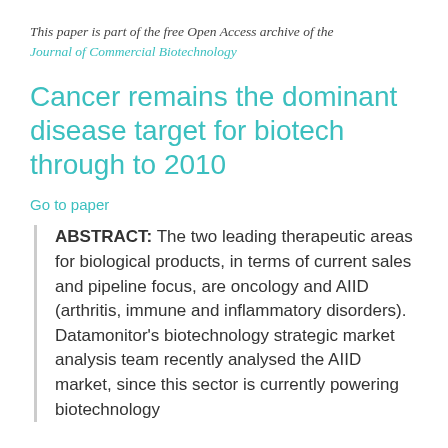This paper is part of the free Open Access archive of the Journal of Commercial Biotechnology
Cancer remains the dominant disease target for biotech through to 2010
Go to paper
ABSTRACT: The two leading therapeutic areas for biological products, in terms of current sales and pipeline focus, are oncology and AIID (arthritis, immune and inflammatory disorders). Datamonitor's biotechnology strategic market analysis team recently analysed the AIID market, since this sector is currently powering biotechnology